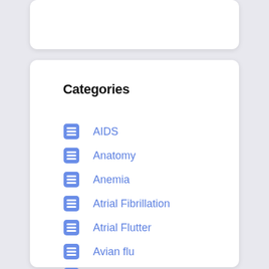Categories
AIDS
Anatomy
Anemia
Atrial Fibrillation
Atrial Flutter
Avian flu
Blood
Cancer